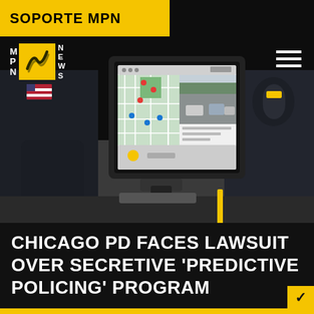SOPORTE MPN
[Figure (photo): A police officer sits in a patrol car interior. A tablet mounted on the dashboard shows a map with location pins on the left side and a surveillance camera feed of a parking lot on the right side. The officer's hands are visible near the tablet. US flag patch visible on the shoulder.]
CHICAGO PD FACES LAWSUIT OVER SECRETIVE 'PREDICTIVE POLICING' PROGRAM